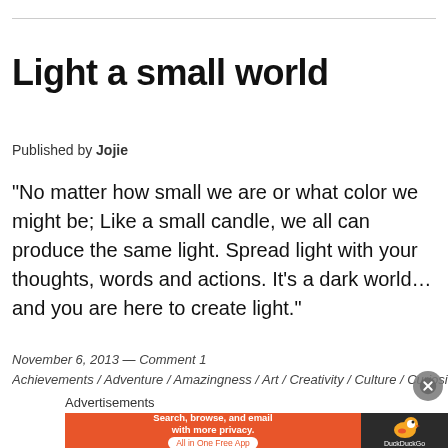Light a small world
Published by Jojie
“No matter how small we are or what color we might be; Like a small candle, we all can produce the same light. Spread light with your thoughts, words and actions. It’s a dark world… and you are here to create light.”
November 6, 2013 — Comment 1
Achievements / Adventure / Amazingness / Art / Creativity / Culture / Curiosity / Davao
Advertisements
[Figure (other): DuckDuckGo advertisement banner: orange background with text 'Search, browse, and email with more privacy. All in One Free App' and DuckDuckGo duck logo on dark background.]